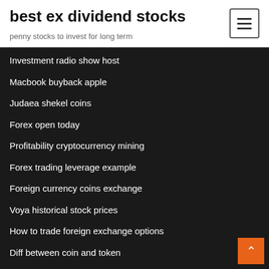best ex dividend stocks
penny stocks to invest for long term
Investment radio show host
Macbook buyback apple
Judaea shekel coins
Forex open today
Profitability cryptocurrency mining
Forex trading leverage example
Foreign currency coins exchange
Voya historical stock prices
How to trade foreign exchange options
Diff between coin and token